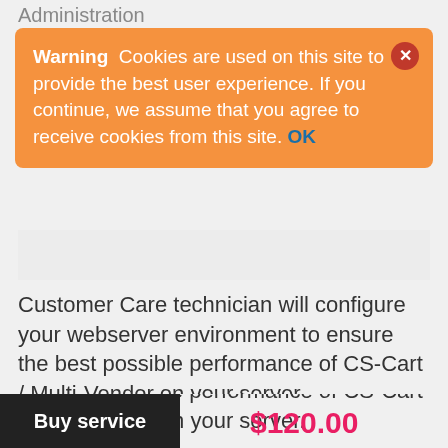Administration
Warning  Cookies are used on this site to provide the best user experience. If you continue, we assume that you agree to receive cookies from this site. OK
Customer Care technician will configure your webserver environment to ensure the best possible performance of CS-Cart / Multi-Vendor on your server.
Once the server configuration has been completed, we will be happy to offer you assistance in re-configuring the web server (or modifying DNS record) within six months starting from the date the server was configured. In case the problem occurs after
Buy service
$120.00